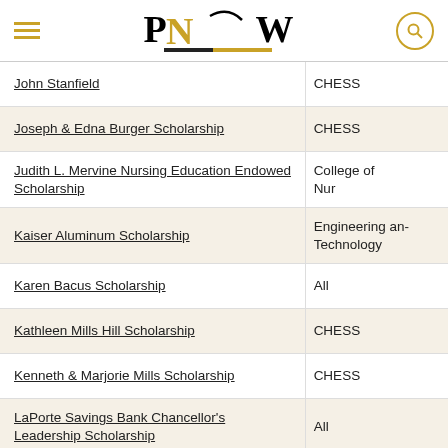PNW - Purdue University Northwest
| Scholarship | College/Department |
| --- | --- |
| John Stanfield | CHESS |
| Joseph & Edna Burger Scholarship | CHESS |
| Judith L. Mervine Nursing Education Endowed Scholarship | College of Nursing |
| Kaiser Aluminum Scholarship | Engineering and Technology |
| Karen Bacus Scholarship | All |
| Kathleen Mills Hill Scholarship | CHESS |
| Kenneth & Marjorie Mills Scholarship | CHESS |
| LaPorte Savings Bank Chancellor's Leadership Scholarship | All |
| Laura McClun Rowley Scholarship | Nursing |
| LaVerne Noyes Foundation Scholarship | All |